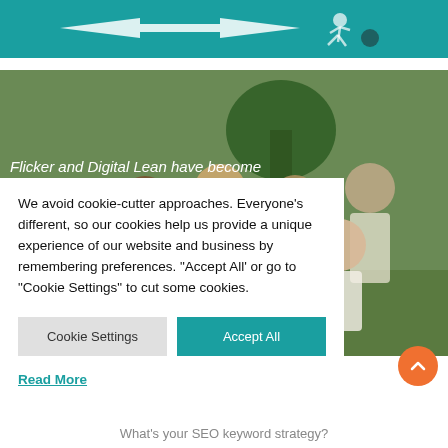[Figure (illustration): Top teal/turquoise banner with graphic illustration of a person running and arrows on a dark teal background]
[Figure (photo): Group photo of several young people outdoors on a sunny day near trees and grass]
Flicker and Digital Lean have become
We avoid cookie-cutter approaches. Everyone's different, so our cookies help us provide a unique experience of our website and business by remembering preferences. "Accept All' or go to "Cookie Settings" to cut some cookies.
Cookie Settings
Accept All
Read More
What's your SEO keyword strategy?